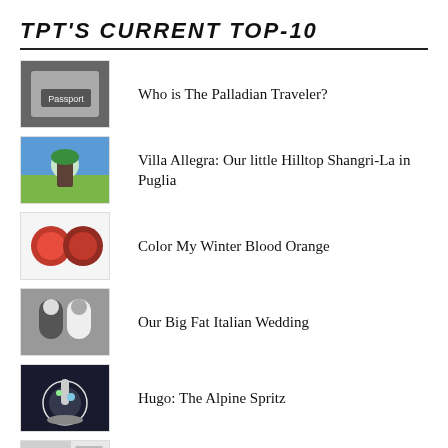TPT'S CURRENT TOP-10
Who is The Palladian Traveler?
Villa Allegra: Our little Hilltop Shangri-La in Puglia
Color My Winter Blood Orange
Our Big Fat Italian Wedding
Hugo: The Alpine Spritz
Palladio's 192-Step Program
What's Burning: Pancetta 'n' Peppers "Deep-Throat" Pasta